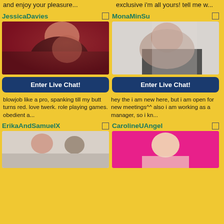and enjoy your pleasure...
exclusive i'm all yours! tell me w...
JessicaDavies
[Figure (photo): HD thumbnail photo of JessicaDavies]
Enter Live Chat!
blowjob like a pro, spanking till my butt turns red. love twerk. role playing games. obedient a...
MonaMinSu
[Figure (photo): HD thumbnail photo of MonaMinSu]
Enter Live Chat!
hey the i am new here, but i am open for new meetings^^ also i am working as a manager, so i kn...
ErikaAndSamuelX
[Figure (photo): HD thumbnail photo of ErikaAndSamuelX]
CarolineUAngel
[Figure (photo): HD thumbnail photo of CarolineUAngel]